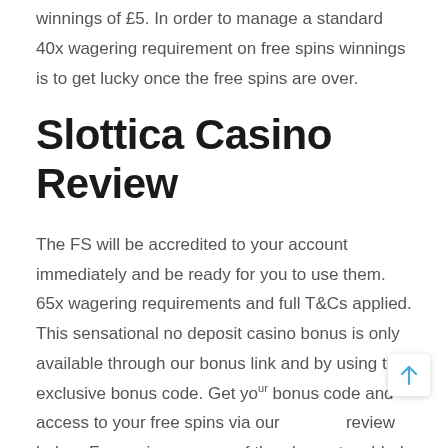winnings of £5. In order to manage a standard 40x wagering requirement on free spins winnings is to get lucky once the free spins are over.
Slottica Casino Review
The FS will be accredited to your account immediately and be ready for you to use them. 65x wagering requirements and full T&Cs applied. This sensational no deposit casino bonus is only available through our bonus link and by using the exclusive bonus code. Get your bonus code and access to your free spins via our review below. Free spins are one of the elements added